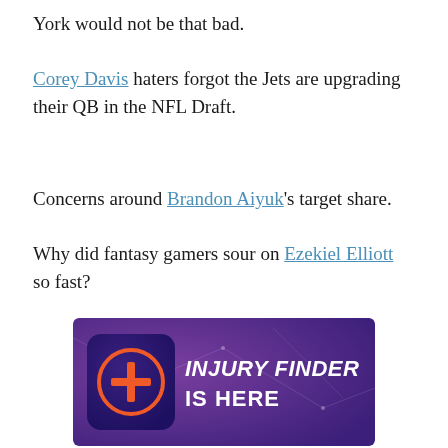York would not be that bad.
Corey Davis haters forgot the Jets are upgrading their QB in the NFL Draft.
Concerns around Brandon Aiyuk's target share.
Why did fantasy gamers sour on Ezekiel Elliott so fast?
[Figure (other): Injury Finder advertisement banner with purple gradient background, app icon with orange plus sign in circle, bold white text reading INJURY FINDER IS HERE]